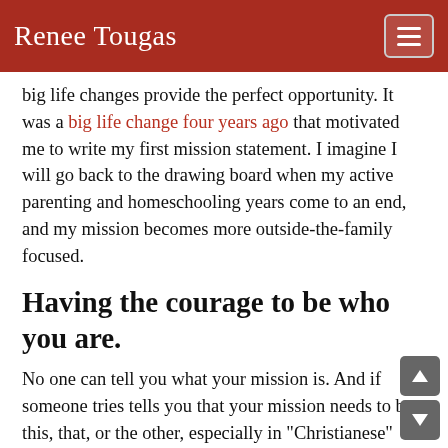Renee Tougas
big life changes provide the perfect opportunity. It was a big life change four years ago that motivated me to write my first mission statement. I imagine I will go back to the drawing board when my active parenting and homeschooling years come to an end, and my mission becomes more outside-the-family focused.
Having the courage to be who you are.
No one can tell you what your mission is. And if someone tries tells you that your mission needs to be this, that, or the other, especially in "Christianese" terms, run away.